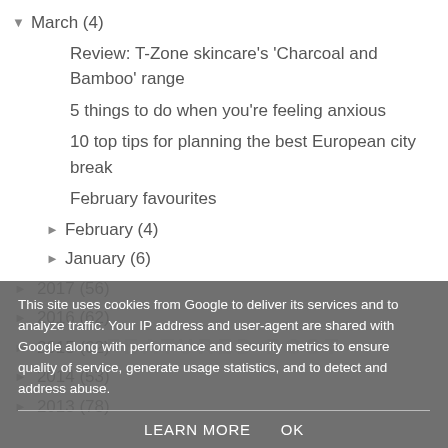▼ March (4)
Review: T-Zone skincare's 'Charcoal and Bamboo' range
5 things to do when you're feeling anxious
10 top tips for planning the best European city break
February favourites
► February (4)
► January (6)
► 2017 (56)
► 2016 (62)
► 2015 (62)
► 2014 (53)
► 2013 (78)
This site uses cookies from Google to deliver its services and to analyze traffic. Your IP address and user-agent are shared with Google along with performance and security metrics to ensure quality of service, generate usage statistics, and to detect and address abuse.
LEARN MORE   OK